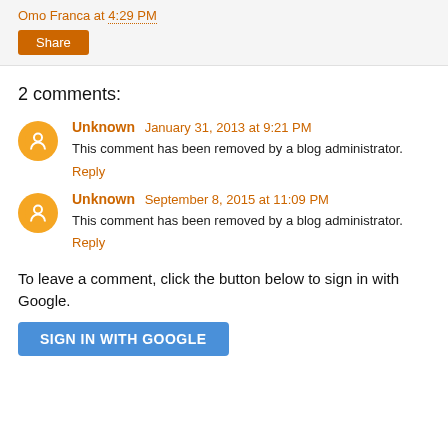Omo Franca at 4:29 PM
Share
2 comments:
Unknown January 31, 2013 at 9:21 PM
This comment has been removed by a blog administrator.
Reply
Unknown September 8, 2015 at 11:09 PM
This comment has been removed by a blog administrator.
Reply
To leave a comment, click the button below to sign in with Google.
SIGN IN WITH GOOGLE